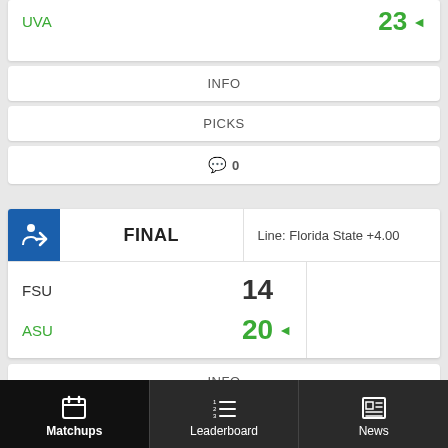UVA   23 ◄
INFO
PICKS
💬 0
FINAL   Line: Florida State +4.00
FSU   14
ASU   20 ◄
INFO
PICKS
Matchups   Leaderboard   News